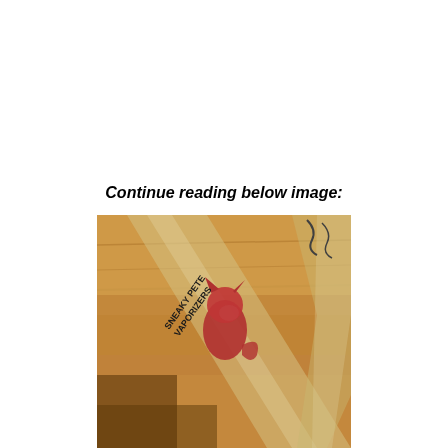Continue reading below image:
[Figure (photo): Close-up photo of a glass tube/pipe with the Sneaky Pete Vaporizers brand logo (red fox silhouette) and text 'SNEAKY PETE VAPORIZERS' printed on it, resting on a wooden surface.]